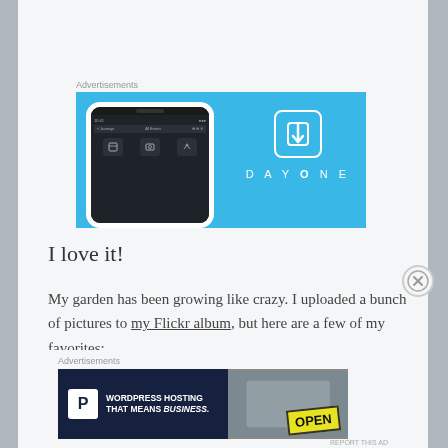Advertisements
[Figure (screenshot): DayOne app advertisement banner with blue background showing a phone mockup on the left with the DayOne app interface and the DayOne logo (bookmark icon) and text 'DAYONE' on the right]
I love it!
My garden has been growing like crazy. I uploaded a bunch of pictures to my Flickr album, but here are a few of my favorites:
Advertisements
[Figure (screenshot): WordPress hosting advertisement banner with dark blue background. Left side shows WordPress 'P' logo icon with text 'WORDPRESS HOSTING THAT MEANS BUSINESS.' Right side shows a photo of an OPEN sign.]